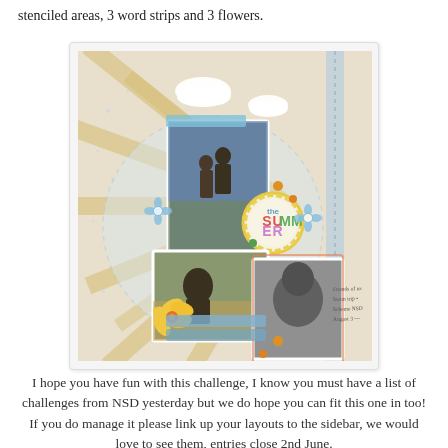stenciled areas, 3 word strips and 3 flowers.
[Figure (photo): A scrapbook layout featuring summer beach photos with cloud embellishments, a 'SUMMER' badge, flowers, and decorative sun-ray patterned paper.]
I hope you have fun with this challenge, I know you must have a list of challenges from NSD yesterday but we do hope you can fit this one in too! If you do manage it please link up your layouts to the sidebar, we would love to see them, entries close 2nd June.